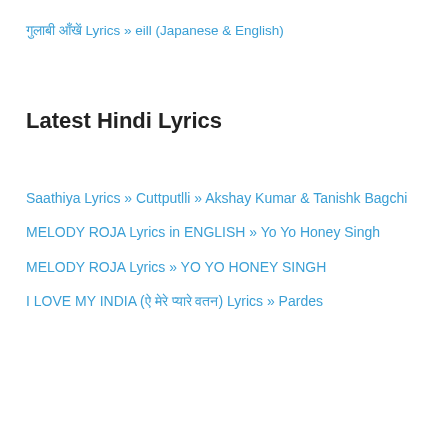गुलाबी आँखें Lyrics » eill (Japanese & English)
Latest Hindi Lyrics
Saathiya Lyrics » Cuttputlli » Akshay Kumar & Tanishk Bagchi
MELODY ROJA Lyrics in ENGLISH » Yo Yo Honey Singh
MELODY ROJA Lyrics » YO YO HONEY SINGH
I LOVE MY INDIA (ऐ मेरे प्यारे वतन) Lyrics » Pardes